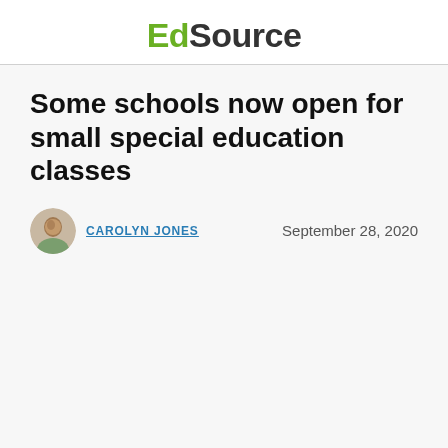EdSource
Some schools now open for small special education classes
CAROLYN JONES   September 28, 2020